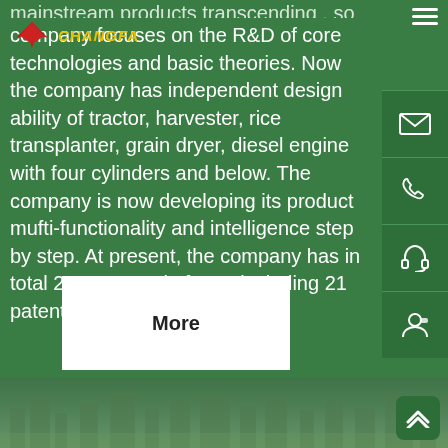[Figure (logo): CHANGFA company logo with red arrow/wing icon and yellow CHANGFA text]
mainstream products transcending , so the company focuses on the R&D of core technologies and basic theories. Now the company has independent design ability of tractor, harvester, rice transplanter, grain dryer, diesel engine with four cylinders and below. The company is now developing its product mufti-functionality and intelligence step by step. At present, the company has in total 203 patents in force, including 21 patents for invention.
More
[Figure (photo): City skyline panorama visible at bottom of page]